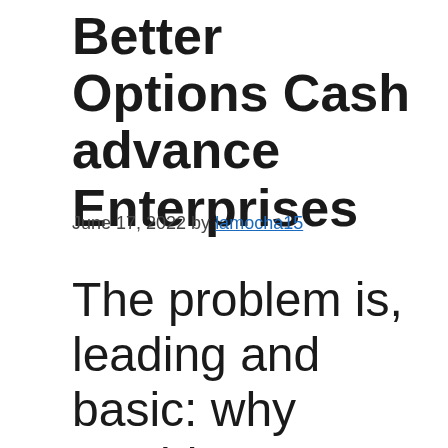Better Options Cash advance Enterprises
June 17, 2022 by lamocha15
The problem is, leading and basic: why would incorporate Brigit whenever you find a